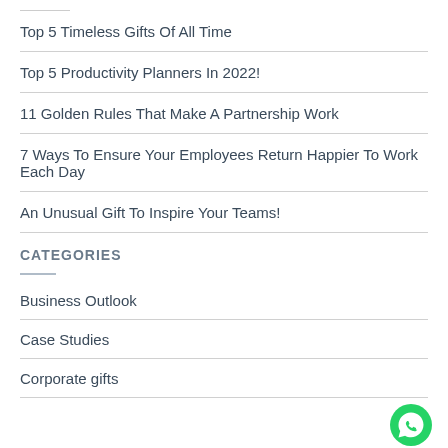Top 5 Timeless Gifts Of All Time
Top 5 Productivity Planners In 2022!
11 Golden Rules That Make A Partnership Work
7 Ways To Ensure Your Employees Return Happier To Work Each Day
An Unusual Gift To Inspire Your Teams!
CATEGORIES
Business Outlook
Case Studies
Corporate gifts